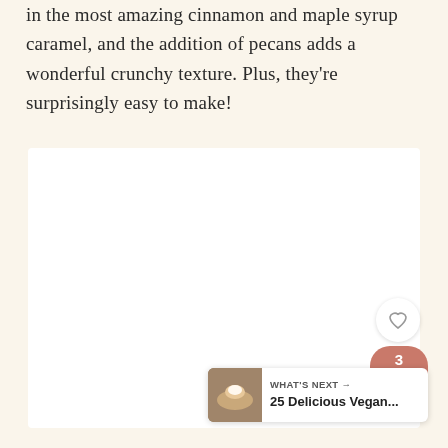in the most amazing cinnamon and maple syrup caramel, and the addition of pecans adds a wonderful crunchy texture. Plus, they're surprisingly easy to make!
[Figure (photo): A white rectangular image area (likely a food photo placeholder) with a heart/like button, share count badge showing 3, share icon button, and a 'What's Next' recommendation widget showing '25 Delicious Vegan...' with a small food photo.]